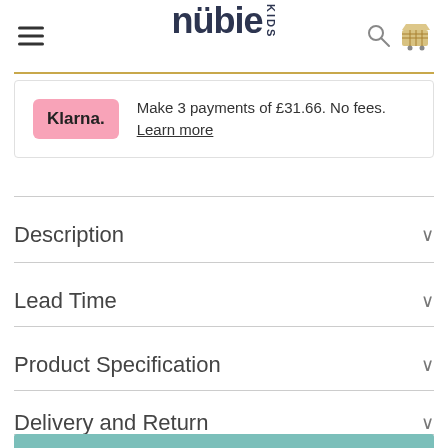nubie KIDS
Make 3 payments of £31.66. No fees. Learn more
Description
Lead Time
Product Specification
Delivery and Return